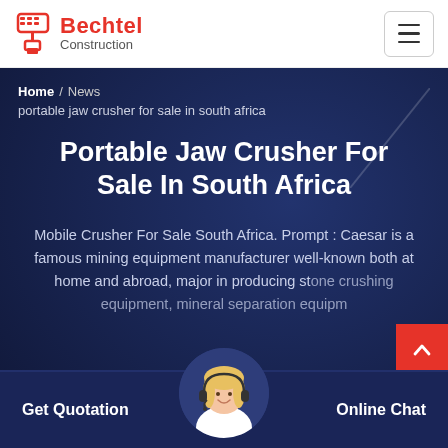Bechtel Construction
Home / News
portable jaw crusher for sale in south africa
Portable Jaw Crusher For Sale In South Africa
Mobile Crusher For Sale South Africa. Prompt : Caesar is a famous mining equipment manufacturer well-known both at home and abroad, major in producing stone crushing equipment, mineral separation equipm...
Get Quotation
Online Chat